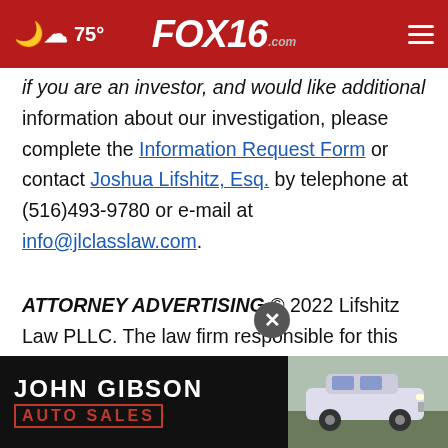75° FOX16.com
if you are an investor, and would like additional information about our investigation, please complete the Information Request Form or contact Joshua Lifshitz, Esq. by telephone at (516)493-9780 or e-mail at info@jlclasslaw.com.
ATTORNEY ADVERTISING.© 2022 Lifshitz Law PLLC. The law firm responsible for this advertisement is Lifshitz Law PLLC, 1190 Broadway, Hewlett, New York 11557, Tel (516)... ee or predi... ny
[Figure (advertisement): John Gibson Auto Sales advertisement banner with car image at bottom of page]